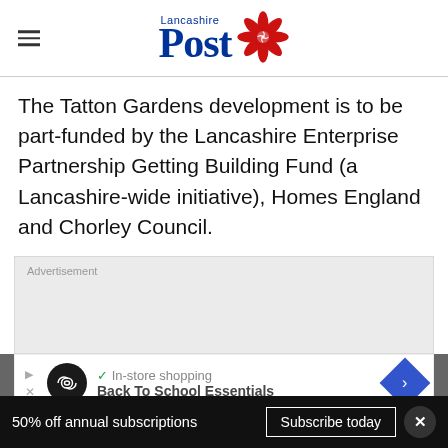Lancashire Post
The Tatton Gardens development is to be part-funded by the Lancashire Enterprise Partnership Getting Building Fund (a Lancashire-wide initiative), Homes England and Chorley Council.
[Figure (other): Advertisement placeholder box with grey background and an embedded ad showing a black circle logo with infinity symbol, a checkmark 'In-store shopping', and 'Back To School Essentials' text with a blue arrow icon]
50% off annual subscriptions  Subscribe today  ×